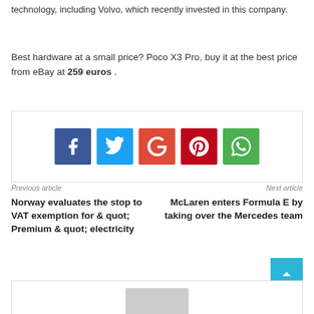technology, including Volvo, which recently invested in this company.
Best hardware at a small price? Poco X3 Pro, buy it at the best price from eBay at 259 euros .
[Figure (infographic): Social media sharing buttons: Facebook (blue), Twitter (light blue), Google+ (red-orange), Pinterest (dark red), WhatsApp (green)]
Previous article
Next article
Norway evaluates the stop to VAT exemption for & quot; Premium & quot; electricity
McLaren enters Formula E by taking over the Mercedes team
[Figure (other): Comment section with avatar placeholder]